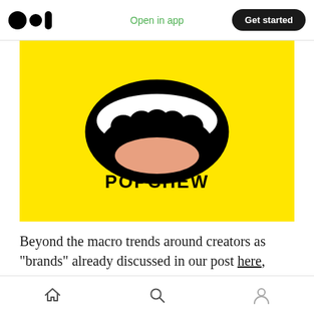Open in app | Get started
[Figure (logo): Popchew logo on yellow background: cartoon open mouth with white teeth and pink lips above the bold text POPCHEW]
Beyond the macro trends around creators as “brands” already discussed in our post here, there’s a few reasons I, and the Flybridge team
Home | Search | Profile